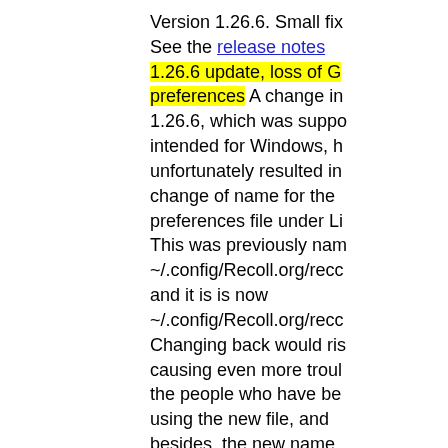Version 1.26.6. Small fix See the release notes 1.26.6 update, loss of G preferences A change in 1.26.6, which was supposed intended for Windows, h unfortunately resulted in change of name for the preferences file under Li This was previously nam ~/.config/Recoll.org/recc and it is is now ~/.config/Recoll.org/recc Changing back would ris causing even more troul the people who have be using the new file, and besides, the new name confusion with the index configuration file ~/.recoll/recoll.conf. In o recover your preference please exit recoll, then r ~/.config/Recoll.org/recc to ~/.config/Recoll.org/recc
2020-03-08
The Recoll source